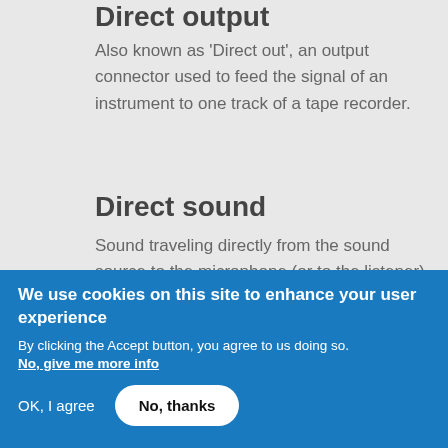Direct output
Also known as 'Direct out', an output connector used to feed the signal of an instrument to one track of a tape recorder.
Direct sound
Sound traveling directly from the sound source to the microphone (or to the listener) without early or late reflections.
We use cookies on this site to enhance your user experience
By clicking the Accept button, you agree to us doing so.
No, give me more info
OK, I agree
No, thanks